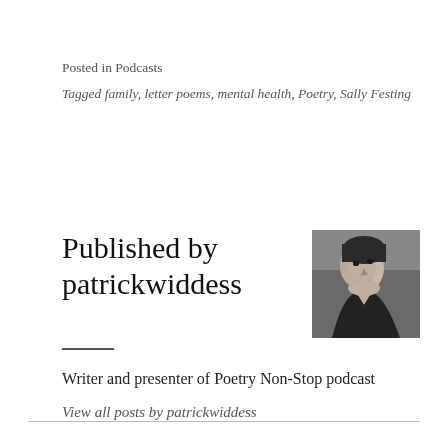Posted in Podcasts
Tagged family, letter poems, mental health, Poetry, Sally Festing
Published by patrickwiddess
[Figure (photo): Black and white portrait photo of patrickwiddess, a person looking upward, wearing dark clothing]
Writer and presenter of Poetry Non-Stop podcast
View all posts by patrickwiddess